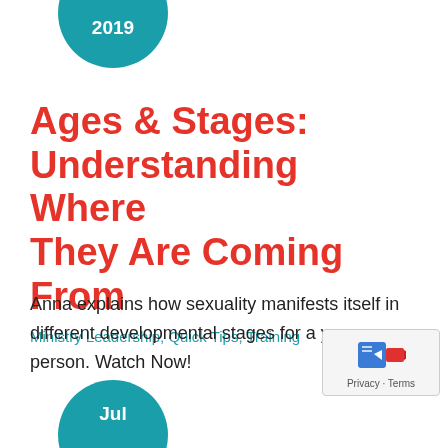[Figure (other): Teal circular badge showing year 2019, partially cropped at top]
Ages & Stages: Understanding Where They Are Coming From
Ministry Leadership, Quick Tips, Training
Anna explains how sexuality manifests itself in different developmental stages for a young person. Watch Now!
[Figure (other): Privacy badge with blue icon and camera icon, with text Privacy - Terms]
[Figure (other): Teal circular badge showing Jul, partially cropped at bottom]